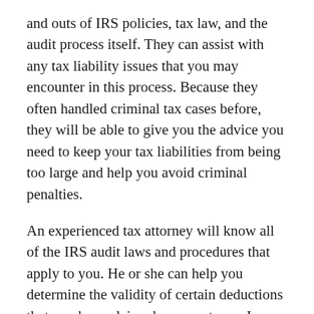and outs of IRS policies, tax law, and the audit process itself. They can assist with any tax liability issues that you may encounter in this process. Because they often handled criminal tax cases before, they will be able to give you the advice you need to keep your tax liabilities from being too large and help you avoid criminal penalties.
An experienced tax attorney will know all of the IRS audit laws and procedures that apply to you. He or she can help you determine the validity of certain deductions that you have claimed on your taxes. In some cases, you can even recover money you owe to the IRS if you can prove that you cannot possibly pay the debt. Your tax lawyer can also inform you about the options that are available to you if you find that you are dealing with excessive tax liabilities.